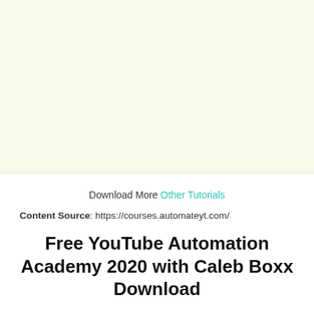[Figure (other): Cream/pale yellow background top section, likely a video thumbnail or image placeholder]
Download More Other Tutorials
Content Source: https://courses.automateyt.com/
Free YouTube Automation Academy 2020 with Caleb Boxx Download